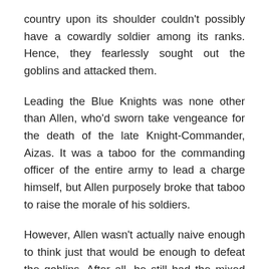country upon its shoulder couldn't possibly have a cowardly soldier among its ranks. Hence, they fearlessly sought out the goblins and attacked them.
Leading the Blue Knights was none other than Allen, who'd sworn take vengeance for the death of the late Knight-Commander, Aizas. It was a taboo for the commanding officer of the entire army to lead a charge himself, but Allen purposely broke that taboo to raise the morale of his soldiers.
However, Allen wasn't actually naive enough to think just that would be enough to defeat the goblins. After all, he still had the mixed army led by adventurers with him. As such, he prioritized finding the goblins and avoiding a direct confrontation to slowly whittle down on their numbers.